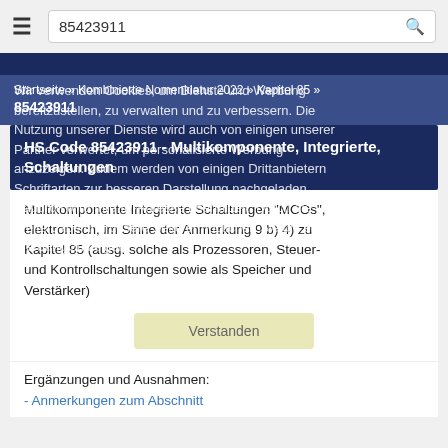85423911
Startseite » Kombinierte Nomenklatur 2022 » Kapitel 85 » 85423911
HS Code 85423911 - Multikomponente, Integrierte, Schaltungen
Multikomponente Integrierte Schaltungen "MCOs", elektronisch, im Sinne der Anmerkung 9 b) 4) zu Kapitel 85 (ausg. solche als Prozessoren, Steuer- und Kontrollschaltungen sowie als Speicher und Verstärker)
Ergänzungen und Ausnahmen:
- Anmerkungen zum Abschnitt